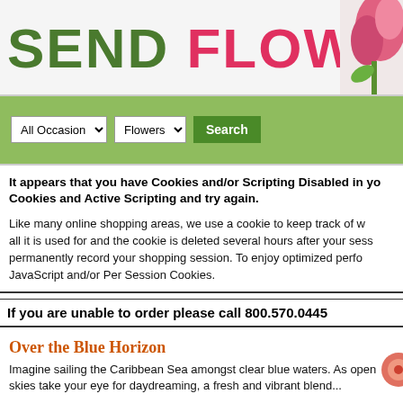SEND FLOWERS TODAY
[Figure (illustration): Pink tulip flower in upper-right corner of header banner]
All Occasion [dropdown] Flowers [dropdown] Search [button]
It appears that you have Cookies and/or Scripting Disabled in your browser. Please enable Cookies and Active Scripting and try again.
Like many online shopping areas, we use a cookie to keep track of what you have selected, that is all it is used for and the cookie is deleted several hours after your session ends. We do not permanently record your shopping session. To enjoy optimized performance, please enable JavaScript and/or Per Session Cookies.
If you are unable to order please call 800.570.0445
Over the Blue Horizon
Imagine sailing the Caribbean Sea amongst clear blue waters. As open skies take your eye for daydreaming, a fresh and vibrant blend...